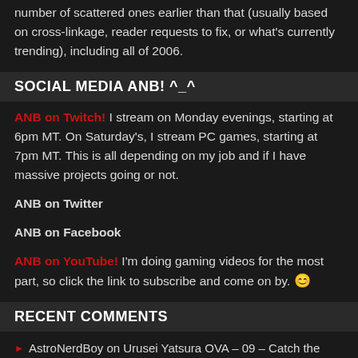number of scattered ones earlier than that (usually based on cross-linkage, reader requests to fix, or what's currently trending), including all of 2006.
SOCIAL MEDIA ANB! ^_^
ANB on Twitch! I stream on Monday evenings, starting at 6pm MT. On Saturday's, I stream PC games, starting at 7pm MT. This is all depending on my job and if I have massive projects going or not.
ANB on Twitter
ANB on Facebook
ANB on YouTube! I'm doing gaming videos for the most part, so click the link to subscribe and come on by. 😊
RECENT COMMENTS
AstroNerdBoy on Urusei Yatsura OVA – 09 – Catch the Heart
Jaysim on Urusei Yatsura OVA – 09 – Catch the Heart
Yue Ayase on What Manga Do You Regret Reading?